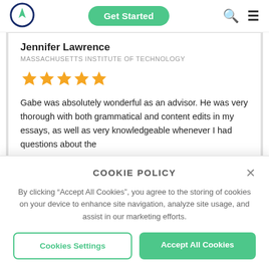[Figure (logo): Navigation compass logo circle with green arrow icon]
Get Started
[Figure (screenshot): Search and hamburger menu icons]
Jennifer Lawrence
MASSACHUSETTS INSTITUTE OF TECHNOLOGY
[Figure (other): Five gold stars rating]
Gabe was absolutely wonderful as an advisor. He was very thorough with both grammatical and content edits in my essays, as well as very knowledgeable whenever I had questions about the
COOKIE POLICY
By clicking “Accept All Cookies”, you agree to the storing of cookies on your device to enhance site navigation, analyze site usage, and assist in our marketing efforts.
Cookies Settings
Accept All Cookies